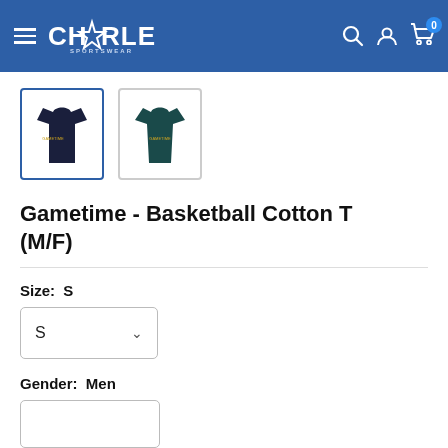Charles Sportswear — navigation header with hamburger menu, logo, search, account, and cart icons
[Figure (photo): Two product thumbnail images: a navy blue t-shirt (selected, highlighted with blue border) and a teal/dark green fitted t-shirt]
Gametime - Basketball Cotton T (M/F)
Size: S
S (dropdown selector)
Gender: Men
(Gender dropdown selector, partially visible)